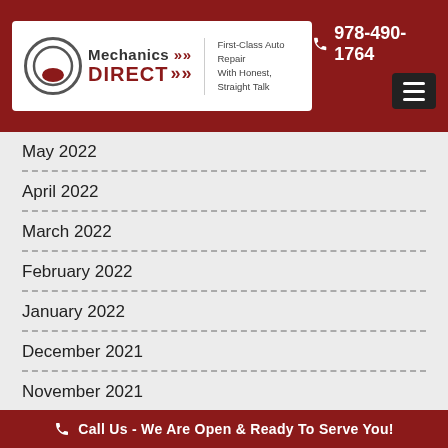[Figure (logo): Mechanics Direct logo with tagline 'First-Class Auto Repair With Honest, Straight Talk']
978-490-1764
May 2022
April 2022
March 2022
February 2022
January 2022
December 2021
November 2021
Call Us - We Are Open & Ready To Serve You!